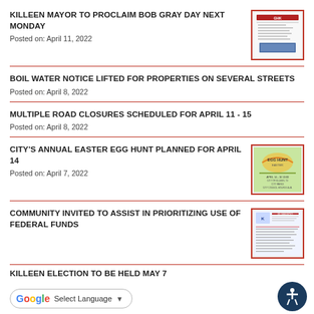KILLEEN MAYOR TO PROCLAIM BOB GRAY DAY NEXT MONDAY
Posted on: April 11, 2022
[Figure (other): Thumbnail image of Bob Gray Day proclamation document]
BOIL WATER NOTICE LIFTED FOR PROPERTIES ON SEVERAL STREETS
Posted on: April 8, 2022
MULTIPLE ROAD CLOSURES SCHEDULED FOR APRIL 11 - 15
Posted on: April 8, 2022
CITY'S ANNUAL EASTER EGG HUNT PLANNED FOR APRIL 14
Posted on: April 7, 2022
[Figure (other): Thumbnail image of Easter Egg Hunt flyer]
COMMUNITY INVITED TO ASSIST IN PRIORITIZING USE OF FEDERAL FUNDS
[Figure (other): Thumbnail image of federal funds document]
KILLEEN ELECTION TO BE HELD MAY 7